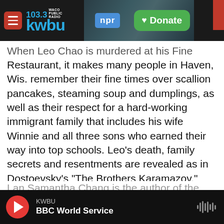[Figure (screenshot): KWBU 103.3 Waco Public Radio / NPR logo and Donate button in header bar with dark background and industrial background image]
When Leo Chao is murdered at his Fine Chao Restaurant, it makes many people in Haven, Wis. remember their fine times over scallion pancakes, steaming soup and dumplings, as well as their respect for a hard-working immigrant family that includes his wife Winnie and all three sons who earned their way into top schools. Leo's death, family secrets and resentments are revealed as in Dostoevsky's "The Brothers Karamazov." Lan Samantha Chang writes in her new novel "The Family Chao," no one could have believed that such good food was cooked by a bad person.
KWBU
BBC World Service